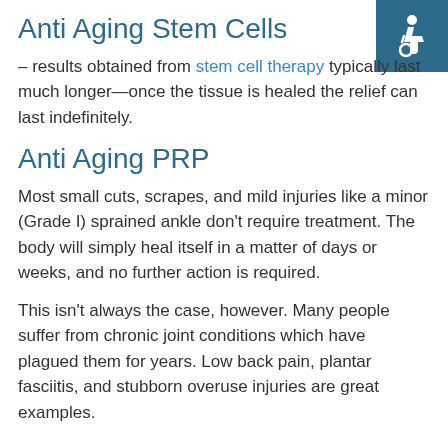Anti Aging Stem Cells
[Figure (illustration): Wheelchair accessibility icon in white on teal/dark blue square background]
– results obtained from stem cell therapy typically last much longer—once the tissue is healed the relief can last indefinitely.
Anti Aging PRP
Most small cuts, scrapes, and mild injuries like a minor (Grade I) sprained ankle don't require treatment. The body will simply heal itself in a matter of days or weeks, and no further action is required.
This isn't always the case, however. Many people suffer from chronic joint conditions which have plagued them for years. Low back pain, plantar fasciitis, and stubborn overuse injuries are great examples.